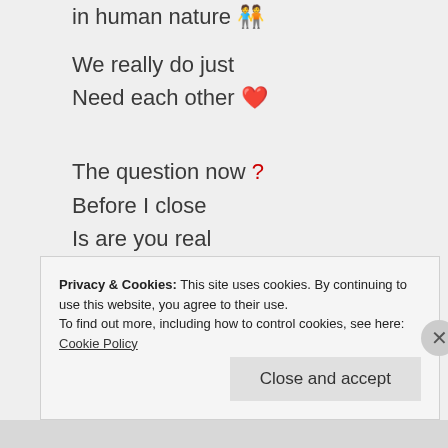in human nature 🧑‍🤝‍🧑
We really do just
Need each other ❤️
The question now ❓
Before I close
Is are you real
Or pitch proposed!?
What I like
And I'm not crass
A place where misfits
Show real class 🪪
Privacy & Cookies: This site uses cookies. By continuing to use this website, you agree to their use.
To find out more, including how to control cookies, see here: Cookie Policy
Close and accept